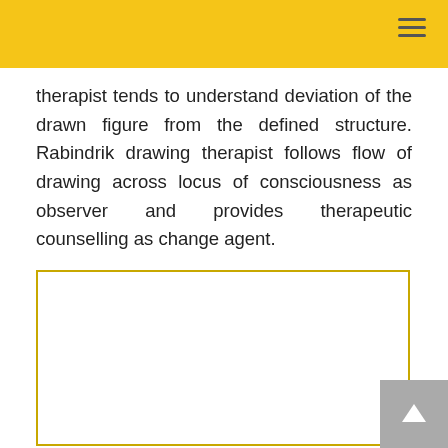therapist tends to understand deviation of the drawn figure from the defined structure. Rabindrik drawing therapist follows flow of drawing across locus of consciousness as observer and provides therapeutic counselling as change agent.
[Figure (illustration): Colorful teardrop/raindrop shapes arranged in a tree or cloud-like formation, using rainbow colors (red, orange, yellow, green, blue, purple, dark blue, teal) of various sizes scattered across a white background within a bordered box.]